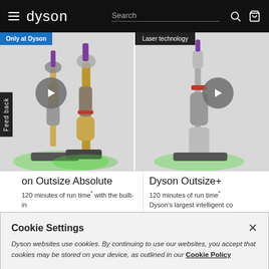dyson — Search navigation bar
[Figure (screenshot): Dyson Outsize Absolute cordless vacuum cleaner with gold/purple finish and laser, shown on product card with play button overlay and 'Only at Dyson' badge]
[Figure (screenshot): Dyson Outsize+ cordless vacuum cleaner with red accent, shown on product card with play button overlay and 'Laser technology' badge]
on Outsize Absolute
120 minutes of run time* with the built-in crevice and dusting tool.
Dyson Outsize+
120 minutes of run time* Dyson's largest intelligent co
Cookie Settings
Dyson websites use cookies. By continuing to use our websites, you accept that cookies may be stored on your device, as outlined in our Cookie Policy